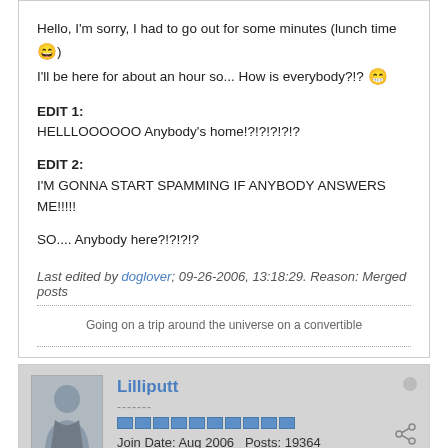Hello, I'm sorry, I had to go out for some minutes (lunch time 😄)
I'll be here for about an hour so... How is everybody?!? 😁
EDIT 1:
HELLLOOOOOO Anybody's home!?!?!?!?!?
EDIT 2:
I'M GONNA START SPAMMING IF ANYBODY ANSWERS ME!!!!!
SO.... Anybody here?!?!?!?
Last edited by doglover; 09-26-2006, 13:18:29. Reason: Merged posts
Going on a trip around the universe on a convertible
Lilliputt
-------
Join Date: Aug 2006  Posts: 19364
09-26-2006, 13:16:48
#14141